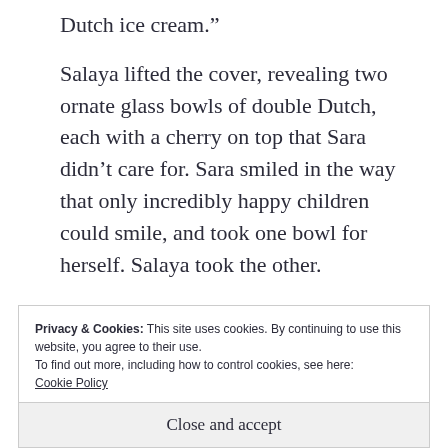Dutch ice cream.”
Salaya lifted the cover, revealing two ornate glass bowls of double Dutch, each with a cherry on top that Sara didn’t care for. Sara smiled in the way that only incredibly happy children could smile, and took one bowl for herself. Salaya took the other.
Privacy & Cookies: This site uses cookies. By continuing to use this website, you agree to their use.
To find out more, including how to control cookies, see here:
Cookie Policy
Close and accept